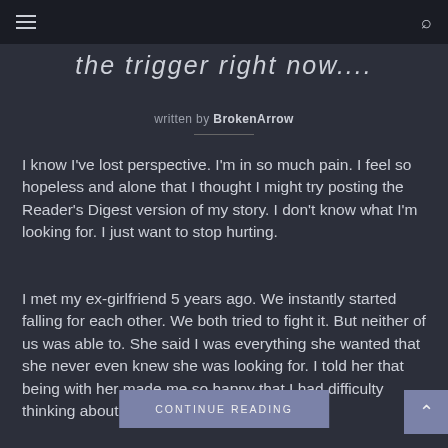the trigger right now....
written by BrokenArrow
I know I've lost perspective. I'm in so much pain. I feel so hopeless and alone that I thought I might try posting the Reader's Digest version of my story. I don't know what I'm looking for. I just want to stop hurting.
I met my ex-girlfriend 5 years ago. We instantly started falling for each other. We both tried to fight it. But neither of us was able to. She said I was everything she wanted that she never even knew she was looking for. I told her that being with her made me so happy that I had difficulty thinking about anything but her. [...]
CONTINUE READING